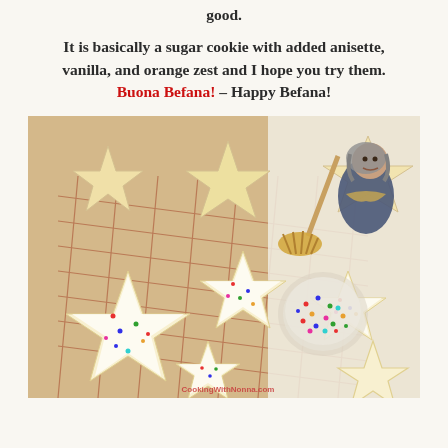good.
It is basically a sugar cookie with added anisette, vanilla, and orange zest and I hope you try them. Buona Befana! – Happy Befana!
[Figure (photo): Star-shaped sugar cookies with white icing and colorful sprinkles arranged on a copper wire cooling rack, with a small glass bowl of rainbow sprinkles, and a decorative Befana witch figurine in the upper right area. Some plain undecorated star cookies visible in upper right corner. Watermark reads CookingWithNonna.com]